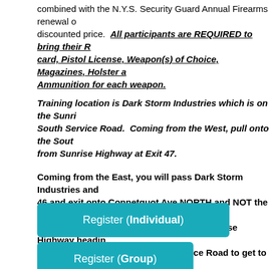combined with the N.Y.S. Security Guard Annual Firearms renewal o discounted price.  All participants are REQUIRED to bring their R card, Pistol License, Weapon(s) of Choice, Magazines, Holster a Ammunition for each weapon.
Training location is Dark Storm Industries which is on the Sunri South Service Road.  Coming from the West, pull onto the Sout from Sunrise Highway at Exit 47.
Coming from the East, you will pass Dark Storm Industries and 46 and exit onto Connetquot Ave NORTH and NOT the North Se Connecquot, go south and return onto Sunrise Highway headin Exit 47 and exit onto the South Service Road to get to Dark Stor
Register (Individual)
Register (Group)